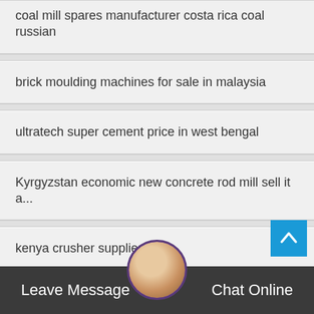coal mill spares manufacturer costa rica coal russian
brick moulding machines for sale in malaysia
ultratech super cement price in west bengal
Kyrgyzstan economic new concrete rod mill sell it a...
kenya crusher suppliers
what is the cement price in india
crushing sand plant manufacturers in india
Leave Message    Chat Online